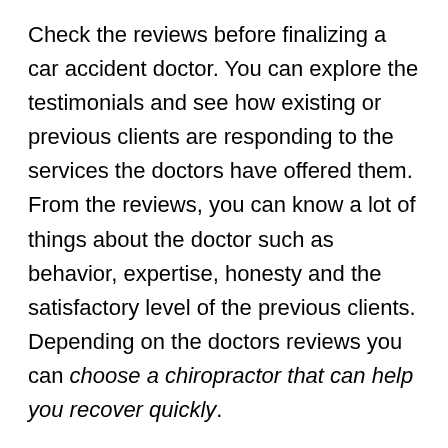Check the reviews before finalizing a car accident doctor. You can explore the testimonials and see how existing or previous clients are responding to the services the doctors have offered them. From the reviews, you can know a lot of things about the doctor such as behavior, expertise, honesty and the satisfactory level of the previous clients. Depending on the doctors reviews you can choose a chiropractor that can help you recover quickly.
Ask an attorney
If you have hired an attorney to help with insurance for the accident or to claim damages from other parties, you can ask for a reference to a reliable injury doctor. Car accident attorney deal with